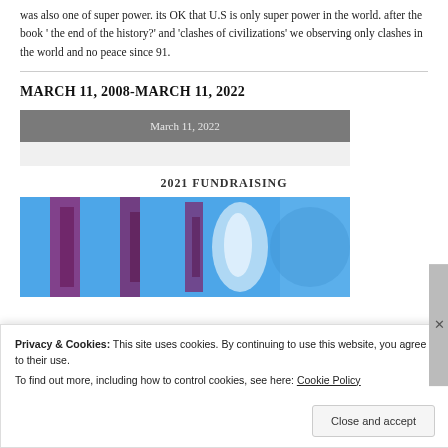was also one of super power. its OK that U.S is only super power in the world. after the book ‘ the end of the history?’ and ‘clashes of civilizations’ we observing only clashes in the world and no peace since 91.
MARCH 11, 2008-MARCH 11, 2022
| March 11, 2022 |
| --- |
|  |
2021 FUNDRAISING
[Figure (photo): Abstract tie-dye or fluid art photo with blue, purple, and white streaks and patterns.]
Privacy & Cookies: This site uses cookies. By continuing to use this website, you agree to their use.
To find out more, including how to control cookies, see here: Cookie Policy
Close and accept